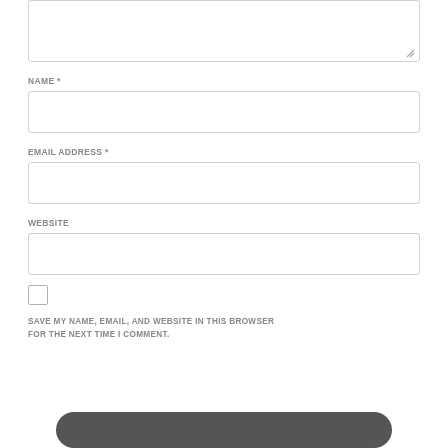[Textarea / comment input box]
NAME *
[Name input box]
EMAIL ADDRESS *
[Email address input box]
WEBSITE
[Website input box]
SAVE MY NAME, EMAIL, AND WEBSITE IN THIS BROWSER FOR THE NEXT TIME I COMMENT.
[Submit button]